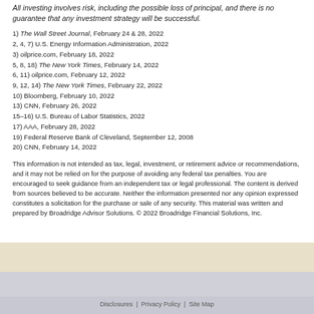All investing involves risk, including the possible loss of principal, and there is no guarantee that any investment strategy will be successful.
1) The Wall Street Journal, February 24 & 28, 2022
2, 4, 7) U.S. Energy Information Administration, 2022
3) oilprice.com, February 18, 2022
5, 8, 18) The New York Times, February 14, 2022
6, 11) oilprice.com, February 12, 2022
9, 12, 14) The New York Times, February 22, 2022
10) Bloomberg, February 10, 2022
13) CNN, February 26, 2022
15–16) U.S. Bureau of Labor Statistics, 2022
17) AAA, February 28, 2022
19) Federal Reserve Bank of Cleveland, September 12, 2008
20) CNN, February 14, 2022
This information is not intended as tax, legal, investment, or retirement advice or recommendations, and it may not be relied on for the purpose of avoiding any federal tax penalties. You are encouraged to seek guidance from an independent tax or legal professional. The content is derived from sources believed to be accurate. Neither the information presented nor any opinion expressed constitutes a solicitation for the purchase or sale of any security. This material was written and prepared by Broadridge Advisor Solutions. © 2022 Broadridge Financial Solutions, Inc.
Disclosures | Privacy Policy | Site Map